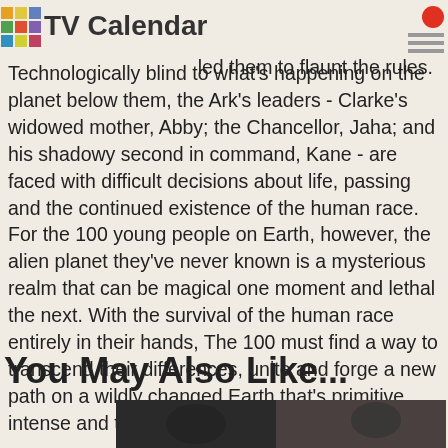TV Calendar
brother/sister duo Bellamy and Octavia, whose illegal ... led them to flaunt the rules. Technologically blind to what's happening on the planet below them, the Ark's leaders - Clarke's widowed mother, Abby; the Chancellor, Jaha; and his shadowy second in command, Kane - are faced with difficult decisions about life, passing and the continued existence of the human race. For the 100 young people on Earth, however, the alien planet they've never known is a mysterious realm that can be magical one moment and lethal the next. With the survival of the human race entirely in their hands, The 100 must find a way to transcend their differences, unite and forge a new path on a wildly changed Earth that's primitive, intense and teeming with the unknown.
You May Also Like...
[Figure (photo): Thumbnail image of a dark sci-fi scene, partially visible at bottom of page]